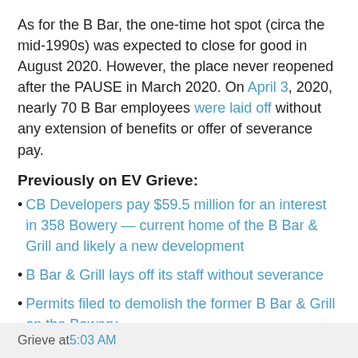As for the B Bar, the one-time hot spot (circa the mid-1990s) was expected to close for good in August 2020. However, the place never reopened after the PAUSE in March 2020. On April 3, 2020, nearly 70 B Bar employees were laid off without any extension of benefits or offer of severance pay.
Previously on EV Grieve:
CB Developers pay $59.5 million for an interest in 358 Bowery — current home of the B Bar & Grill and likely a new development
B Bar & Grill lays off its staff without severance
Permits filed to demolish the former B Bar & Grill on the Bowery
First sign of the B Bar & Grill-replacing 21-story office building on the Bowery
Grieve at 5:03 AM